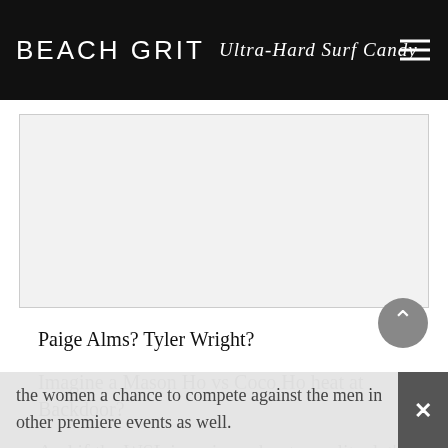BEACH GRIT Ultra-Hard Surf Candy
[Figure (other): Advertisement placeholder — light grey rectangle]
Paige Alms? Tyler Wright?
Imagine a Mason Ho vs Coco Ho heat at Backdoor?
And if the WSL is serious about equality, let's see them give the women a chance to compete against the men in other premiere events as well.